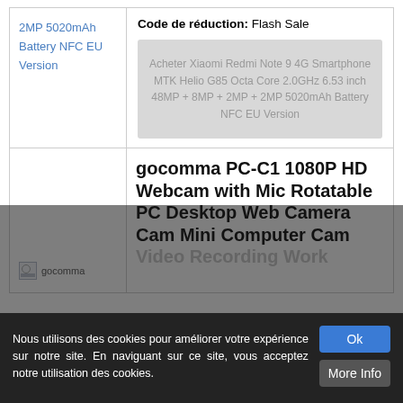2MP 5020mAh Battery NFC EU Version
Code de réduction: Flash Sale
[Figure (other): Gray promotional box with text: Acheter Xiaomi Redmi Note 9 4G Smartphone MTK Helio G85 Octa Core 2.0GHz 6.53 inch 48MP + 8MP + 2MP + 2MP 5020mAh Battery NFC EU Version]
[Figure (photo): gocomma product image placeholder]
gocomma PC-C1 1080P HD Webcam with Mic Rotatable PC Desktop Web Camera Cam Mini Computer Cam Video Recording Work
Nous utilisons des cookies pour améliorer votre expérience sur notre site. En naviguant sur ce site, vous acceptez notre utilisation des cookies.